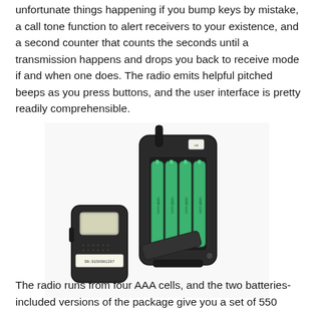unfortunate things happening if you bump keys by mistake, a call tone function to alert receivers to your existence, and a second counter that counts the seconds until a transmission happens and drops you back to receive mode if and when one does. The radio emits helpful pitched beeps as you press buttons, and the user interface is pretty readily comprehensible.
[Figure (photo): A walkie-talkie radio shown from the back with the battery compartment open, revealing four green AAA NiMH rechargeable batteries. A second view shows the front face of the radio with a small LCD display and a serial number sticker reading SN:0150001297.]
The radio runs from four AAA cells, and the two batteries-included versions of the package give you a set of 550 milliamp-hour (mAh) NiMH cells, and a